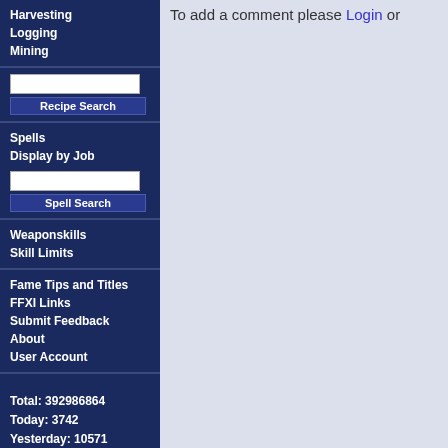Harvesting
Logging
Mining
Recipe Search
Spells
Display by Job
Spell Search
Weaponskills
Skill Limits
Fame Tips and Titles
FFXI Links
Submit Feedback
About
User Account
Total: 392986864
Today: 3742
Yesterday: 10571

Items: 9505
Mobs: 4024
Recipes: 3285
NPCs: 2066
Quests: 570
To add a comment please Login or